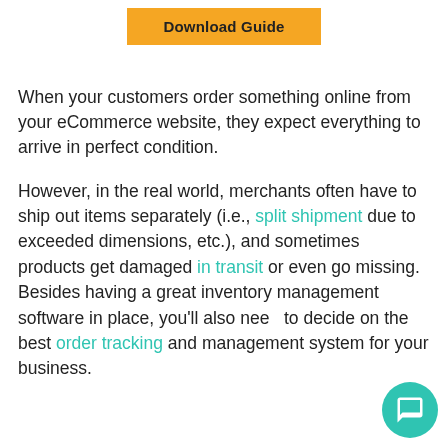[Figure (other): Orange/yellow Download Guide button]
When your customers order something online from your eCommerce website, they expect everything to arrive in perfect condition.
However, in the real world, merchants often have to ship out items separately (i.e., split shipment due to exceeded dimensions, etc.), and sometimes products get damaged in transit or even go missing. Besides having a great inventory management software in place, you'll also need to decide on the best order tracking and management system for your business.